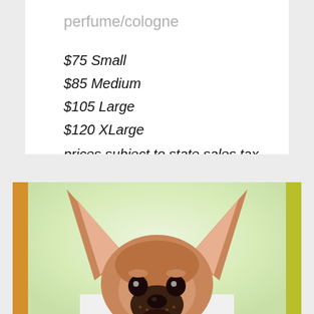perfume/cologne
$75 Small
$85 Medium
$105 Large
$120 XLarge
prices subject to state sales tax
[Figure (photo): A Chihuahua dog with large ears, tan and black coloring, wrapped in a white towel, posed against a soft green blurred background. The image has an orange bar on the left side and a yellow-green bar on the right side.]